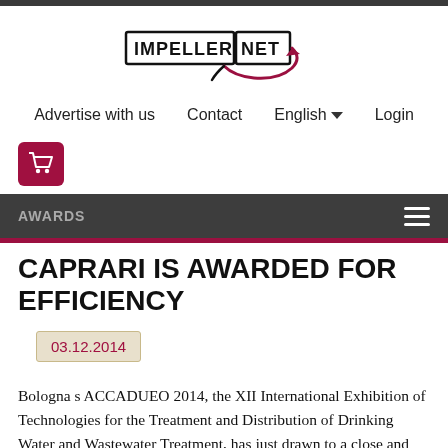[Figure (logo): ImpellerNet logo with stylized impeller/arrow graphic in dark red and black]
Advertise with us   Contact   English   Login
[Figure (logo): Shopping cart icon in dark red square]
AWARDS
CAPRARI IS AWARDED FOR EFFICIENCY
03.12.2014
Bologna s ACCADUEO 2014, the XII International Exhibition of Technologies for the Treatment and Distribution of Drinking Water and Wastewater Treatment, has just drawn to a close and Caprari took part with